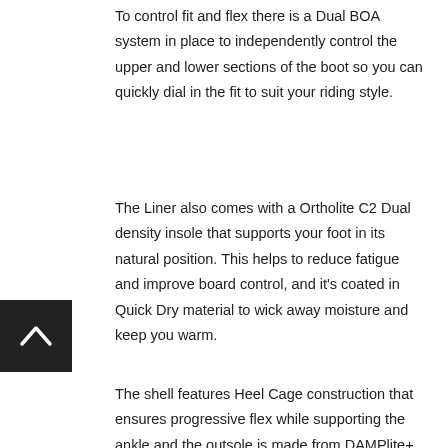To control fit and flex there is a Dual BOA system in place to independently control the upper and lower sections of the boot so you can quickly dial in the fit to suit your riding style.
The Liner also comes with a Ortholite C2 Dual density insole that supports your foot in its natural position. This helps to reduce fatigue and improve board control, and it's coated in Quick Dry material to wick away moisture and keep you warm.
The shell features Heel Cage construction that ensures progressive flex while supporting the ankle and the outsole is made from DAMPlite+, Salomons mix of vibration dampening EVA foam and grippy rubber for traction in all conditions. The Foam + Rubber mix provides excellent shock absorption for bigger landings while maintaining support when you have to hike a feature.
Overall the Dialogue is a high end freestyle boot that will